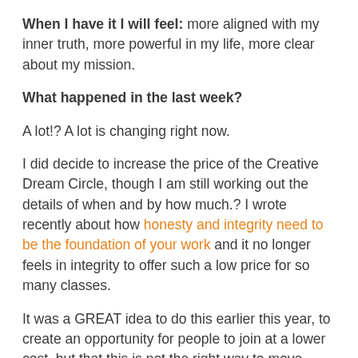When I have it I will feel: more aligned with my inner truth, more powerful in my life, more clear about my mission.
What happened in the last week?
A lot!? A lot is changing right now.
I did decide to increase the price of the Creative Dream Circle, though I am still working out the details of when and by how much.? I wrote recently about how honesty and integrity need to be the foundation of your work and it no longer feels in integrity to offer such a low price for so many classes.
It was a GREAT idea to do this earlier this year, to create an opportunity for people to join at a lower cost, but that this is not the right way to move forward with this.? And I can't be doing things that feel wrong and expect that to